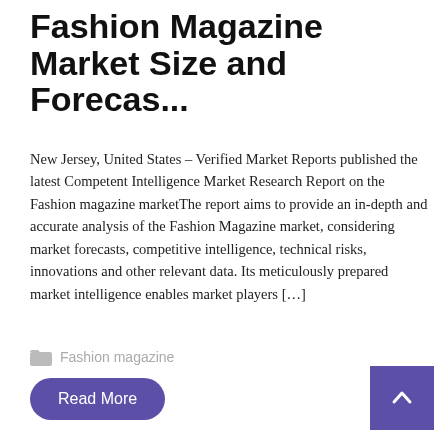Fashion Magazine Market Size and Forecas...
New Jersey, United States – Verified Market Reports published the latest Competent Intelligence Market Research Report on the Fashion magazine marketThe report aims to provide an in-depth and accurate analysis of the Fashion Magazine market, considering market forecasts, competitive intelligence, technical risks, innovations and other relevant data. Its meticulously prepared market intelligence enables market players […]
Fashion magazine
Read More